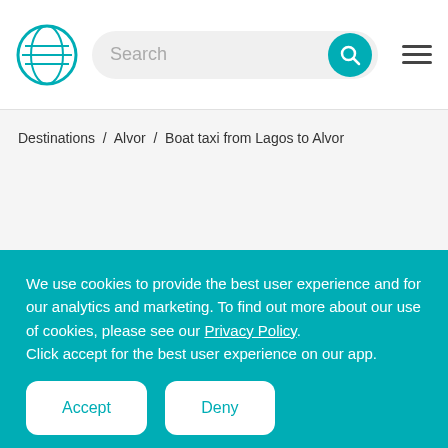[Figure (logo): Circular teal logo with horizontal lines inside, resembling a globe or navigation symbol]
Search
Destinations / Alvor / Boat taxi from Lagos to Alvor
We use cookies to provide the best user experience and for our analytics and marketing. To find out more about our use of cookies, please see our Privacy Policy. Click accept for the best user experience on our app.
Accept
Deny